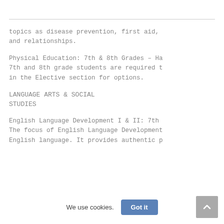topics as disease prevention, first aid, and relationships.
Physical Education: 7th & 8th Grades – Ha 7th and 8th grade students are required t in the Elective section for options.
LANGUAGE ARTS & SOCIAL STUDIES
English Language Development I & II: 7th The focus of English Language Development English language. It provides authentic p
We use cookies.
Got it